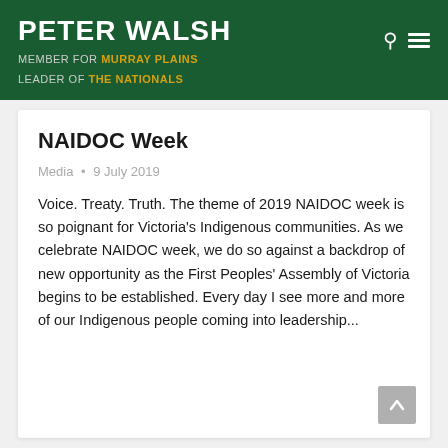PETER WALSH
MEMBER FOR MURRAY PLAINS
LEADER OF THE NATIONALS
NAIDOC Week
Media • 9 July 2019
Voice. Treaty. Truth. The theme of 2019 NAIDOC week is so poignant for Victoria's Indigenous communities. As we celebrate NAIDOC week, we do so against a backdrop of new opportunity as the First Peoples' Assembly of Victoria begins to be established. Every day I see more and more of our Indigenous people coming into leadership...